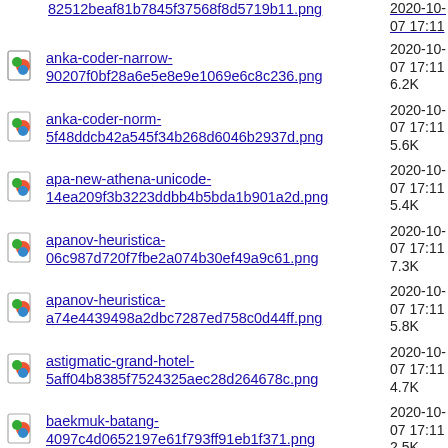82512beaf81b7845f37568f8d5719b11.png  2020-10-07 17:11
anka-coder-narrow-90207f0bf28a6e5e8e9e1069e6c8c236.png  2020-10-07 17:11  6.2K
anka-coder-norm-5f48ddcb42a545f34b268d6046b2937d.png  2020-10-07 17:11  5.6K
apa-new-athena-unicode-14ea209f3b3223ddbb4b5bda1b901a2d.png  2020-10-07 17:11  5.4K
apanov-heuristica-06c987d720f7fbe2a074b30ef49a9c61.png  2020-10-07 17:11  7.3K
apanov-heuristica-a74e4439498a2dbc7287ed758c0d44ff.png  2020-10-07 17:11  5.8K
astigmatic-grand-hotel-5aff04b8385f7524325aec28d264678c.png  2020-10-07 17:11  4.7K
baekmuk-batang-4097c4d0652197e61f793ff91eb1f371.png  2020-10-07 17:11  2.5K
baekmuk-dotum-e774c9958c8a092fbdac25d3eec68473.png  2020-10-07 17:11  2.3K
baekmuk-gulim-343e79c7acdcbf43bc87f3b1d0b686cf.png  2020-10-07 17:11  2.3K
baekmuk-hline-da6abdfe5948e809f79bdce129a623ba.png  2020-10-07 17:11  2.5K
beteckna-lower-case-95514c782bb371c6fc757df95dc2f48b.png  2020-10-07 17:11  5.4K